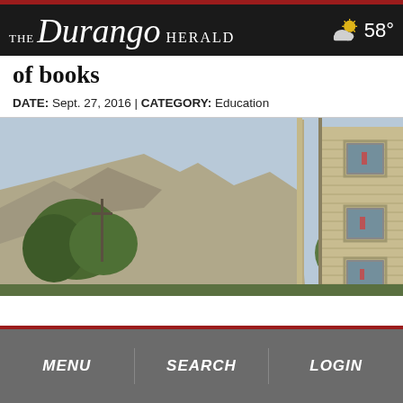THE Durango HERALD | 58°
of books
DATE: Sept. 27, 2016 | CATEGORY: Education
[Figure (photo): Stone tower building with multiple windows, mountain landscape in background with trees]
MENU | SEARCH | LOGIN